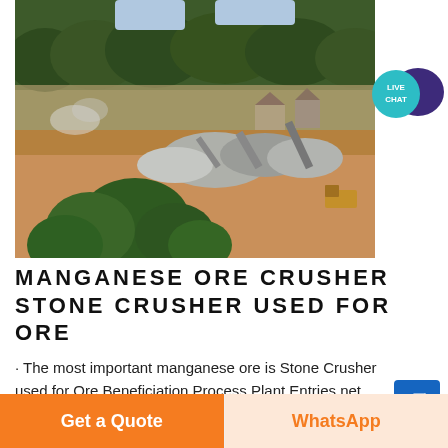[Figure (photo): Aerial/elevated view of a manganese ore stone crusher and beneficiation plant site with industrial machinery, conveyors, stockpiles, and surrounding tropical forest.]
MANGANESE ORE CRUSHER STONE CRUSHER USED FOR ORE
· The most important manganese ore is Stone Crusher used for Ore Beneficiation Process Plant Entries net
[Figure (illustration): Live Chat speech bubble icon with teal circle and dark purple chat bubble]
[Figure (illustration): Blue arrow button pointing top-right]
Get a Quote
WhatsApp